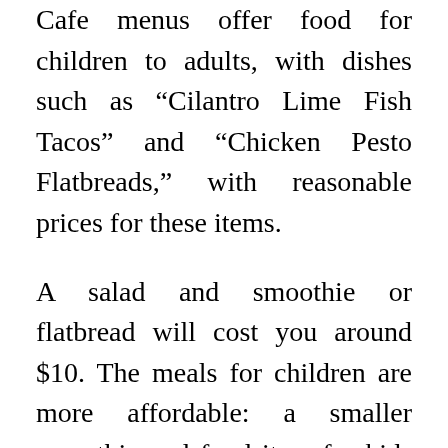Cafe menus offer food for children to adults, with dishes such as “Cilantro Lime Fish Tacos” and “Chicken Pesto Flatbreads,” with reasonable prices for these items.
A salad and smoothie or flatbread will cost you around $10. The meals for children are more affordable: a smaller smoothie and food item for kids costs just $5.
Their menu is centered around fresh, healthy products, their facilities are